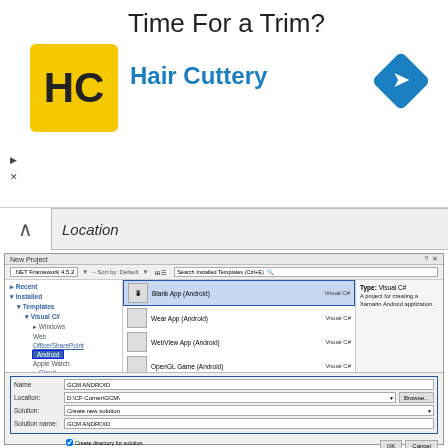[Figure (screenshot): Hair Cuttery advertisement banner with logo and navigation icon]
[Figure (screenshot): Visual Studio New Project dialog showing Android template options with Blank App (Android) selected and project name GCM ANDROID]